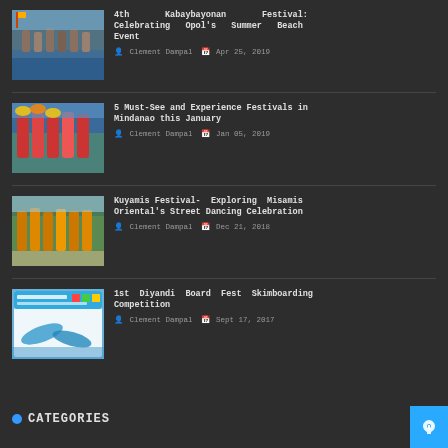4th Kabaybayonan Festival: Celebrating Opol's Summer Beach Event — Clement Dampal, Apr 25, 2019
5 Must-See and Experience Festivals in Mindanao this January — Clement Dampal, Jan 05, 2019
Kuyamis Festival- Exploring Misamis Oriental's Street Dancing Celebration — Clement Dampal, Dec 21, 2018
1st Diyandi Board Fest Skimboarding Competition — Clement Dampal, Sept 17, 2017
CATEGORIES